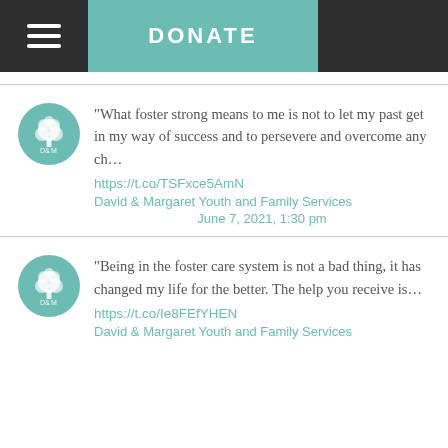DONATE
"What foster strong means to me is not to let my past get in my way of success and to persevere and overcome any ch… https://t.co/TSFxce5AmN David & Margaret Youth and Family Services June 7, 2021, 1:30 pm
"Being in the foster care system is not a bad thing, it has changed my life for the better. The help you receive is… https://t.co/Ie8FEfYHEN David & Margaret Youth and Family Services